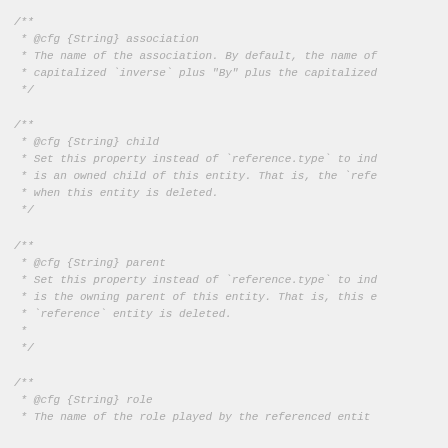/**
 * @cfg {String} association
 * The name of the association. By default, the name of
 * capitalized `inverse` plus "By" plus the capitalized
 */
/**
 * @cfg {String} child
 * Set this property instead of `reference.type` to ind
 * is an owned child of this entity. That is, the `refe
 * when this entity is deleted.
 */
/**
 * @cfg {String} parent
 * Set this property instead of `reference.type` to ind
 * is the owning parent of this entity. That is, this e
 * `reference` entity is deleted.
 *
 */
/**
 * @cfg {String} role
 * The name of the role played by the referenced entit